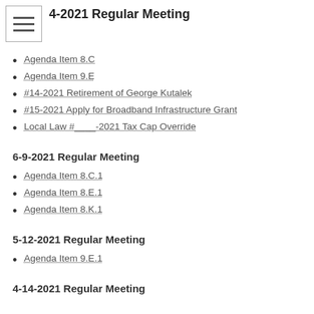4-2021 Regular Meeting
Agenda Item 8.C
Agenda Item 9.E
#14-2021 Retirement of George Kutalek
#15-2021 Apply for Broadband Infrastructure Grant
Local Law #____-2021 Tax Cap Override
6-9-2021 Regular Meeting
Agenda Item 8.C.1
Agenda Item 8.E.1
Agenda Item 8.K.1
5-12-2021 Regular Meeting
Agenda Item 9.E.1
4-14-2021 Regular Meeting